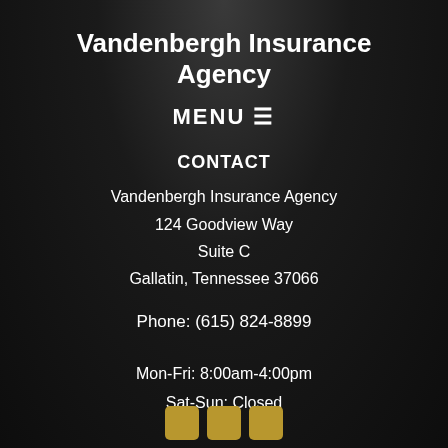Vandenbergh Insurance Agency
MENU ☰
CONTACT
Vandenbergh Insurance Agency
124 Goodview Way
Suite C
Gallatin, Tennessee 37066
Phone: (615) 824-8899
Mon-Fri: 8:00am-4:00pm
Sat-Sun: Closed
[Figure (illustration): Three gold/yellow social media icon buttons at the bottom of the page]